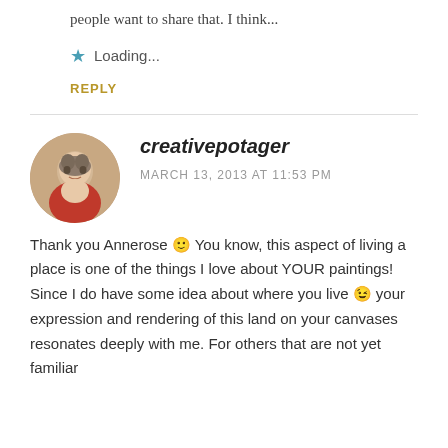people want to share that. I think...
⭐ Loading...
REPLY
creativepotager
MARCH 13, 2013 AT 11:53 PM
Thank you Annerose 🙂 You know, this aspect of living a place is one of the things I love about YOUR paintings! Since I do have some idea about where you live 😉 your expression and rendering of this land on your canvases resonates deeply with me. For others that are not yet familiar